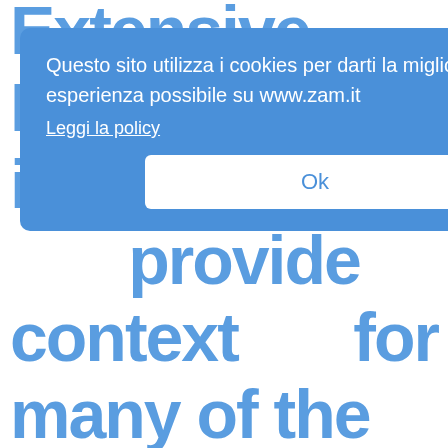Extensive Notes are included to provide context for many of the proteins and important genes defined, with disambiguation where entities are referred to by different names in the literature. We hope that this will be helpful to students and professionals alike
[Figure (screenshot): Cookie consent overlay dialog in Italian: 'Questo sito utilizza i cookies per darti la migliore esperienza possibile su www.zam.it' with a 'Leggi la policy' link and an 'Ok' button]